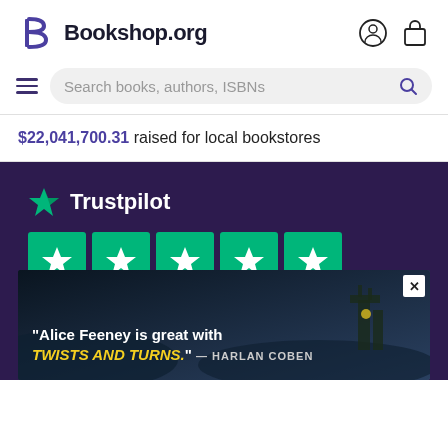[Figure (logo): Bookshop.org logo with stylized B icon and user/cart icons in header]
Search books, authors, ISBNs
$22,041,700.31 raised for local bookstores
[Figure (infographic): Trustpilot 5-star rating section on dark purple background with TrustScore 4.9 | 15,050 reviews, and an advertisement overlay for Alice Feeney book with quote: "Alice Feeney is great with TWISTS AND TURNS." — HARLAN COBEN]